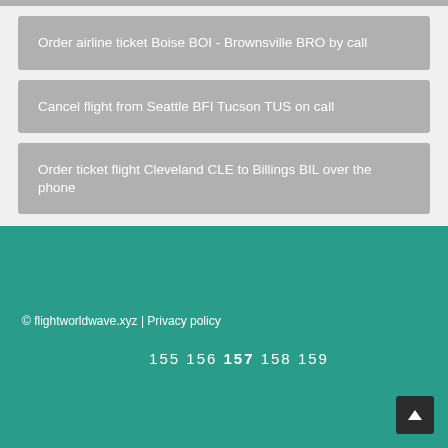Order airline ticket Boise BOI - Brownsville BRO by call
Cancel flight from Seattle BFI Tucson TUS on call
Order ticket flight Cleveland CLE to Billings BIL over the phone
© flightworldwave.xyz | Privacy policy
155 156 157 158 159